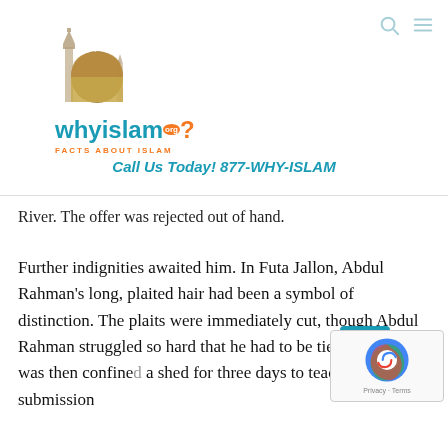[Figure (logo): WhyIslam.org logo with mosque illustration and tagline 'FACTS ABOUT ISLAM']
Call Us Today! 877-WHY-ISLAM
River. The offer was rejected out of hand.
Further indignities awaited him. In Futa Jallon, Abdul Rahman's long, plaited hair had been a symbol of distinction. The plaits were immediately cut, though Abdul Rahman struggled so hard that he had to be tied to a tree. He was then confined a shed for three days to teach him submission